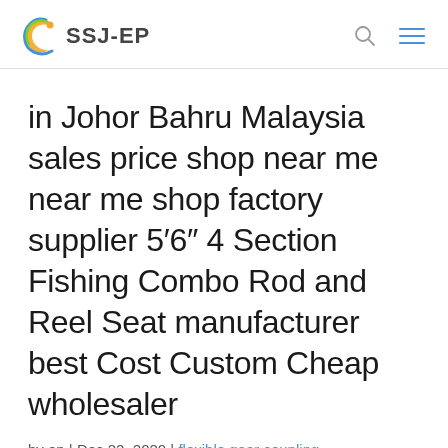SSJ-EP
in Johor Bahru Malaysia sales price shop near me near me shop factory supplier 5′6″ 4 Section Fishing Combo Rod and Reel Seat manufacturer best Cost Custom Cheap wholesaler
by ep | Dec 22, 2020 | flexible gear coupling